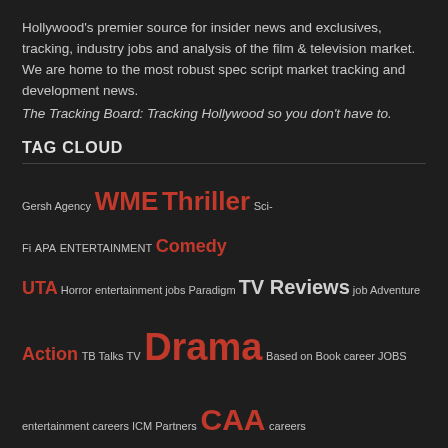Hollywood's premier source for insider news and exclusives, tracking, industry jobs and analysis of the film & television market. We are home to the most robust spec script market tracking and development news.
The Tracking Board: Tracking Hollywood so you don't have to.
TAG CLOUD
Gersh Agency WME Thriller Sci-Fi APA ENTERTAINMENT Comedy UTA Horror entertainment jobs Paradigm TV Reviews job Adventure Action TB Talks TV Drama Based on Book career JOBS entertainment careers ICM Partners CAA careers
ABOUT US
About Us